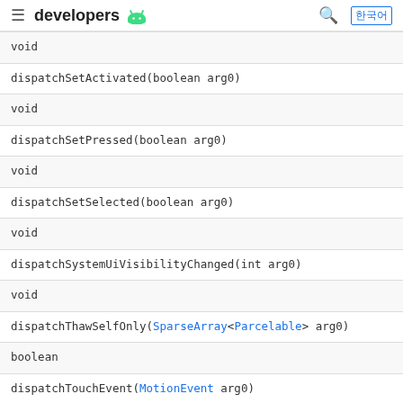developers [android logo]
| void |
| dispatchSetActivated(boolean arg0) |
| void |
| dispatchSetPressed(boolean arg0) |
| void |
| dispatchSetSelected(boolean arg0) |
| void |
| dispatchSystemUiVisibilityChanged(int arg0) |
| void |
| dispatchThawSelfOnly(SparseArray<Parcelable> arg0) |
| boolean |
| dispatchTouchEvent(MotionEvent arg0) |
| boolean |